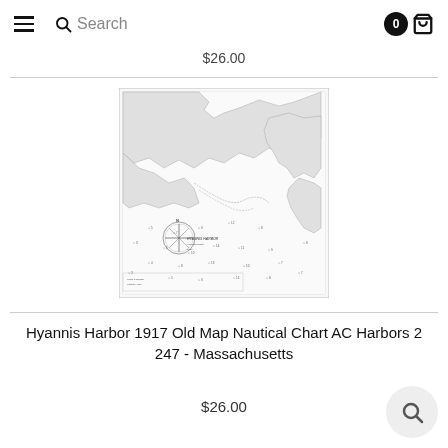☰  🔍 Search   [0] 🛒
$26.00
[Figure (map): Hyannis Harbor 1917 Old Map Nautical Chart AC Harbors 2 247 - Massachusetts. Black and white nautical chart showing coastal features, depth soundings, and harbor details.]
Hyannis Harbor 1917 Old Map Nautical Chart AC Harbors 2 247 - Massachusetts
$26.00